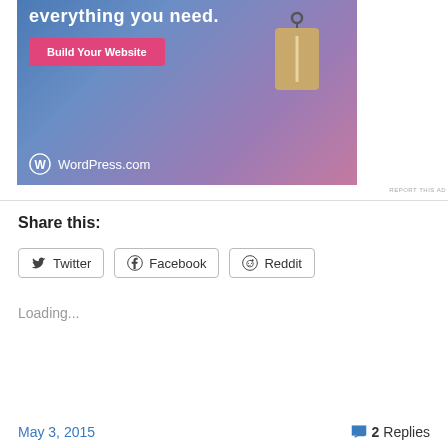[Figure (illustration): WordPress.com advertisement banner with blue-to-pink gradient background, 'everything you need.' tagline at top, pink 'Build Your Website' button, hanging price tag graphic on right, and WordPress.com logo at bottom left.]
REPORT THIS AD
Share this:
Twitter Facebook Reddit
Loading...
May 3, 2015   2 Replies